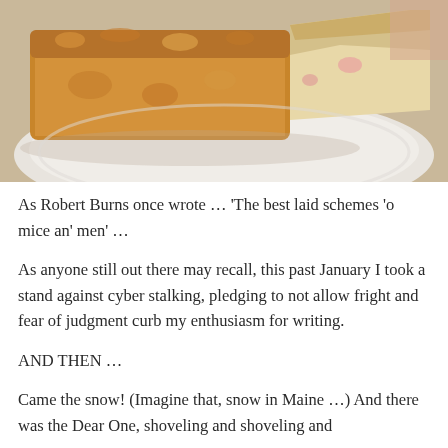[Figure (photo): A piece of cake or coffee cake with crumb topping served on a white plate, photographed close-up from above at an angle.]
As Robert Burns once wrote … 'The best laid schemes 'o mice an' men' …
As anyone still out there may recall, this past January I took a stand against cyber stalking, pledging to not allow fright and fear of judgment curb my enthusiasm for writing.
AND THEN …
Came the snow! (Imagine that, snow in Maine …) And there was the Dear One, shoveling and shoveling and